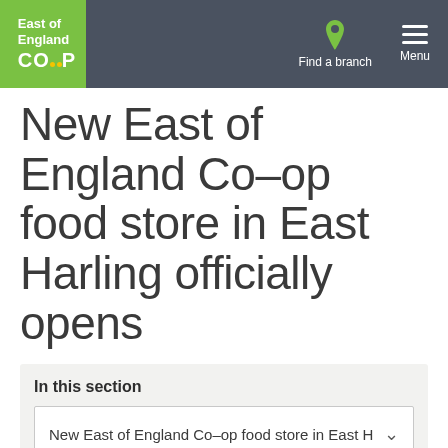East of England Co-op — Find a branch | Menu
New East of England Co-op food store in East Harling officially opens
In this section
New East of England Co-op food store in East H